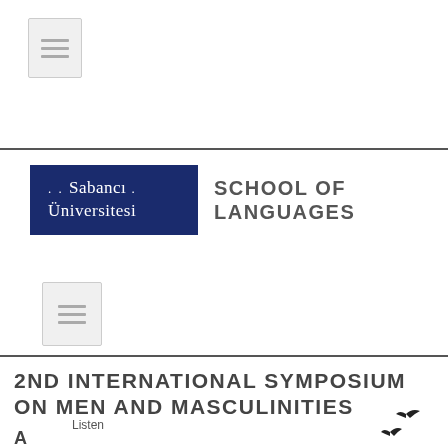[Figure (other): Small document icon box with horizontal lines, top left corner]
[Figure (logo): Sabancı Üniversitesi logo (dark blue box with white serif text) alongside 'SCHOOL OF LANGUAGES' in bold grey uppercase sans-serif]
[Figure (other): Small document icon box with horizontal lines, below logo]
2ND INTERNATIONAL SYMPOSIUM ON MEN AND MASCULINITIES
Listen
A
[Figure (illustration): Silhouettes of two birds in flight, lower right corner]